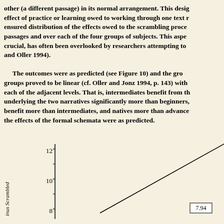other (a different passage) in its normal arrangement. This design controls the effect of practice or learning owed to working through one text rather than another ensured distribution of the effects owed to the scrambling procedure over both passages and over each of the four groups of subjects. This aspect, while crucial, has often been overlooked by researchers attempting to replicate (Jonz and Oller 1994).
The outcomes were as predicted (see Figure 10) and the growth across groups proved to be linear (cf. Oller and Jonz 1994, p. 143) with differences at each of the adjacent levels. That is, intermediates benefit from the schemata underlying the two narratives significantly more than beginners, advances benefit more than intermediates, and natives more than advances. In short, the effects of the formal schemata were as predicted.
[Figure (continuous-plot): A line chart showing data plotted on a y-axis labeled 'Continuous Scrambled' ranging from approximately 8 to 12. A line rises steeply toward the upper right. A data point labeled 7.94 is shown in a box near the right side of the chart at approximately y=8.]